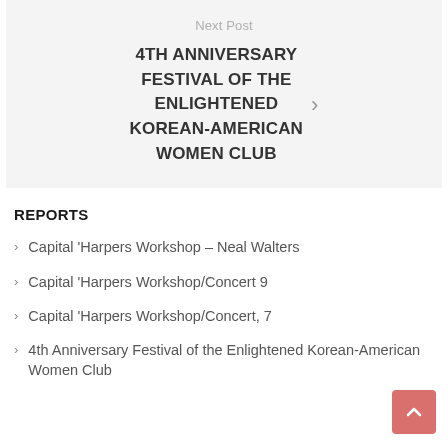Next Post
4TH ANNIVERSARY FESTIVAL OF THE ENLIGHTENED KOREAN-AMERICAN WOMEN CLUB
REPORTS
Capital 'Harpers Workshop – Neal Walters
Capital 'Harpers Workshop/Concert 9
Capital 'Harpers Workshop/Concert, 7
4th Anniversary Festival of the Enlightened Korean-American Women Club